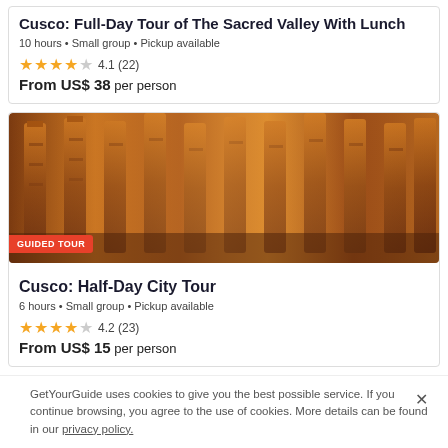Cusco: Full-Day Tour of The Sacred Valley With Lunch
10 hours • Small group • Pickup available
4.1 (22)
From US$ 38 per person
[Figure (photo): Ancient stone temple columns with intricate carved reliefs in warm amber/orange tones, with a GUIDED TOUR badge overlay]
Cusco: Half-Day City Tour
6 hours • Small group • Pickup available
4.2 (23)
From US$ 15 per person
GetYourGuide uses cookies to give you the best possible service. If you continue browsing, you agree to the use of cookies. More details can be found in our privacy policy.